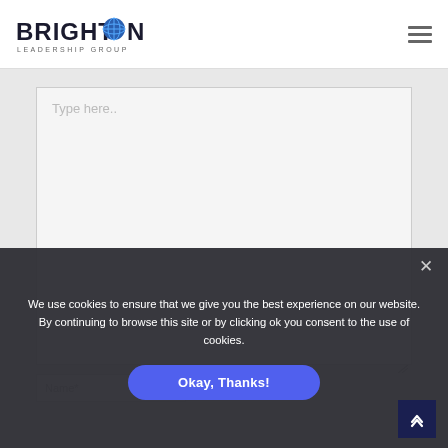[Figure (logo): Brighton Leadership Group logo with globe icon replacing the O in Brighton]
Type here..
We use cookies to ensure that we give you the best experience on our website. By continuing to browse this site or by clicking ok you consent to the use of cookies.
Name*
Okay, Thanks!